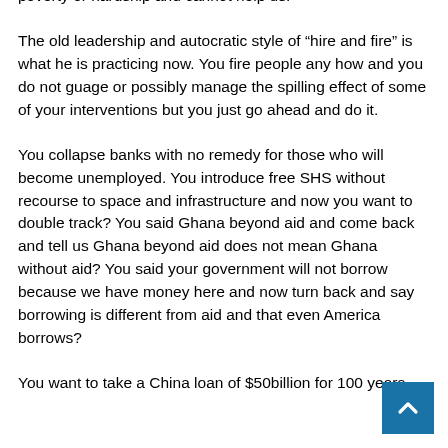plight. In that regard our president does not understand poverty or hardship and cannot help us.
The old leadership and autocratic style of “hire and fire” is what he is practicing now. You fire people any how and you do not guage or possibly manage the spilling effect of some of your interventions but you just go ahead and do it.
You collapse banks with no remedy for those who will become unemployed. You introduce free SHS without recourse to space and infrastructure and now you want to double track? You said Ghana beyond aid and come back and tell us Ghana beyond aid does not mean Ghana without aid? You said your government will not borrow because we have money here and now turn back and say borrowing is different from aid and that even America borrows?
You want to take a China loan of $50billion for 100 years